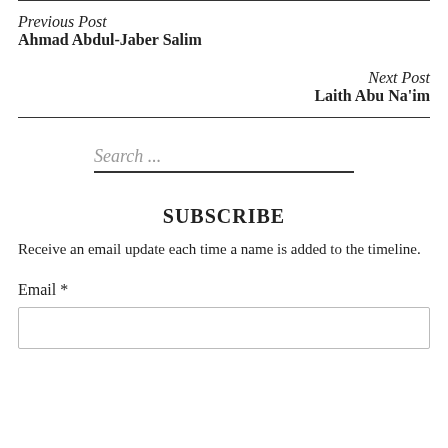Previous Post
Ahmad Abdul-Jaber Salim
Next Post
Laith Abu Na'im
Search ...
SUBSCRIBE
Receive an email update each time a name is added to the timeline.
Email *